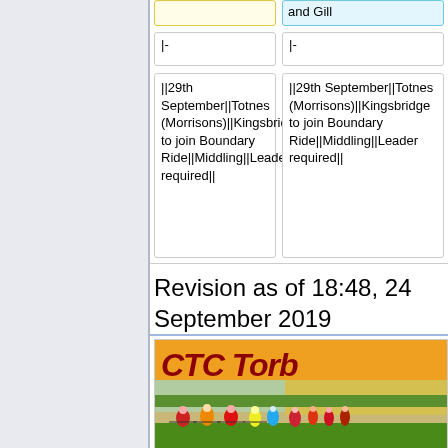and Gill
|-
|-
||29th September||Totnes (Morrisons)||Kingsbridge to join Boundary Ride||Middling||Leader required||
||29th September||Totnes (Morrisons)||Kingsbridge to join Boundary Ride||Middling||Leader required||
Revision as of 18:48, 24 September 2019
[Figure (photo): CTC Torba... banner with cyclists riding on a road through a green field]